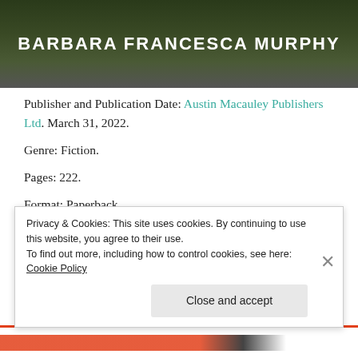[Figure (photo): Dark nature/stone background banner with bold white text reading BARBARA FRANCESCA MURPHY]
Publisher and Publication Date: Austin Macauley Publishers Ltd. March 31, 2022.
Genre: Fiction.
Pages: 222.
Format: Paperback.
Source: I received a complimentary paperback copy from Mindbuck Media Book Publicity. I am not required to write a positive review.
Audience: Readers of family saga.
Privacy & Cookies: This site uses cookies. By continuing to use this website, you agree to their use.
To find out more, including how to control cookies, see here: Cookie Policy
Close and accept